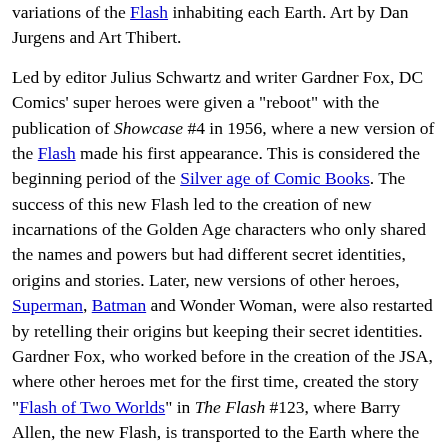variations of the Flash inhabiting each Earth. Art by Dan Jurgens and Art Thibert.
Led by editor Julius Schwartz and writer Gardner Fox, DC Comics' super heroes were given a "reboot" with the publication of Showcase #4 in 1956, where a new version of the Flash made his first appearance. This is considered the beginning period of the Silver age of Comic Books. The success of this new Flash led to the creation of new incarnations of the Golden Age characters who only shared the names and powers but had different secret identities, origins and stories. Later, new versions of other heroes, Superman, Batman and Wonder Woman, were also restarted by retelling their origins but keeping their secret identities. Gardner Fox, who worked before in the creation of the JSA, where other heroes met for the first time, created the story "Flash of Two Worlds" in The Flash #123, where Barry Allen, the new Flash, is transported to the Earth where the original Flash, Jay Garrick, existed. To Allen, Jay Garrick's world was a work of fiction as it was in the real world. This story not only presented the encounter of two worlds and the existence of the Multiverse for the first time, it also presented key features of the Multiverse: all the universes vibrate at a specific frequency which keeps them separated; these "barriers" could be trespassed by "tuning" to that vibration. Because people could also "tune-in" these worlds in dreams, some people wrote comic books with the stories from those worlds they